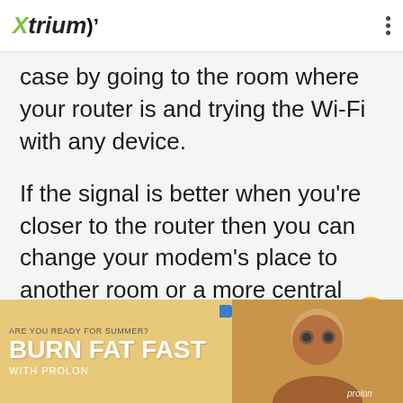Xtrium (logo with signal icon)
case by going to the room where your router is and trying the Wi-Fi with any device.
If the signal is better when you're closer to the router then you can change your modem's place to another room or a more central place.
Note that if you place your router
[Figure (photo): Advertisement banner: ARE YOU READY FOR SUMMER? BURN FAT FAST WITH PROLON, with photo of woman in sunglasses]